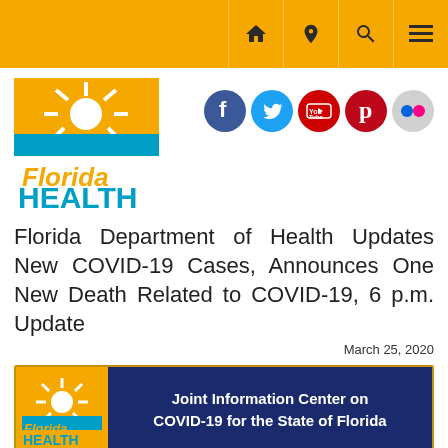Navigation bar with home, location, search, and menu icons
[Figure (logo): Florida Health logo - sun rays with Florida Health text]
[Figure (infographic): Social media icons: Facebook, Twitter, YouTube, Pinterest, Flickr]
Florida Department of Health Updates New COVID-19 Cases, Announces One New Death Related to COVID-19, 6 p.m. Update
March 25, 2020
[Figure (infographic): Joint Information Center on COVID-19 for the State of Florida banner with Florida Health logo]
Contact: Joint Information Center on COVID-19 for the State of